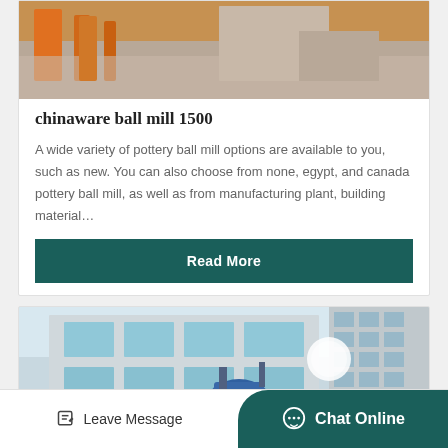[Figure (photo): Construction site with orange machinery and concrete structures]
chinaware ball mill 1500
A wide variety of pottery ball mill options are available to you, such as new. You can also choose from none, egypt, and canada pottery ball mill, as well as from manufacturing plant, building material…
Read More
[Figure (photo): Industrial building with blue machinery equipment in foreground]
Leave Message   Chat Online